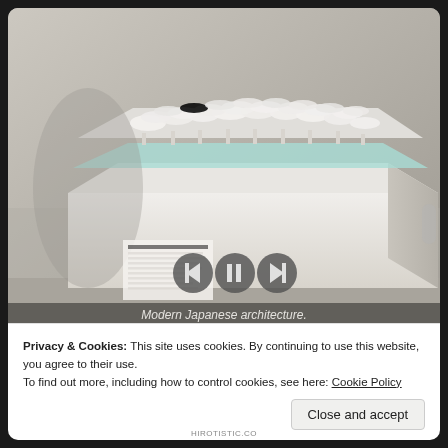[Figure (photo): A white architectural scale model with many mushroom-shaped columns topped with circular/disc-shaped canopies arranged in a grid, placed on a white rectangular pedestal. The model appears to be displayed in a museum setting with a label card visible in the lower left. Media player controls (back, pause, forward) are overlaid on the image. Caption reads 'Modern Japanese architecture.' at the bottom.]
Privacy & Cookies: This site uses cookies. By continuing to use this website, you agree to their use.
To find out more, including how to control cookies, see here: Cookie Policy
Close and accept